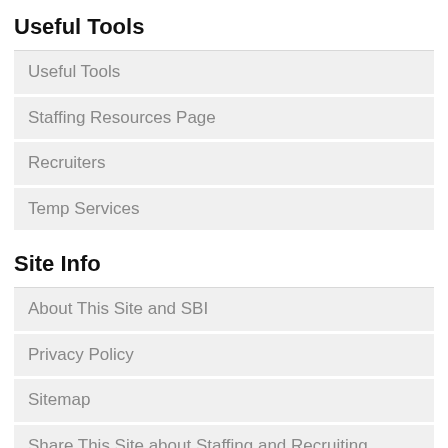Useful Tools
Useful Tools
Staffing Resources Page
Recruiters
Temp Services
Site Info
About This Site and SBI
Privacy Policy
Sitemap
Share This Site about Staffing and Recruiting
Site Use Disclaimer
Your Hiring Blog